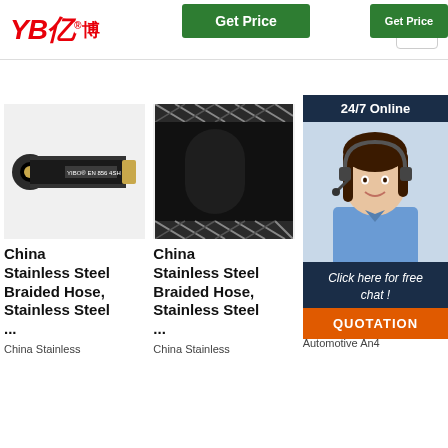[Figure (logo): YB亿博 company logo in red with Chinese characters]
[Figure (other): Hamburger menu button icon top right]
[Figure (other): Green Get Price button, first column]
[Figure (other): Green Get Price button, second column]
[Figure (photo): China Stainless Steel Braided Hose product photo - small black hose with silver fittings labeled YIBO EN 856 4SH]
China Stainless Steel Braided Hose, Stainless Steel ...
China Stainless
[Figure (photo): China Stainless Steel Braided Hose product close-up photo - large black braided hose]
China Stainless Steel Braided Hose, Stainless Steel ...
China Stainless
[Figure (photo): Nylon Braided Hose product photo - partial view of braided hose]
Nylon Braided Hose Price - Buy Cheap Nylon Braided Hose
Automotive An4
[Figure (other): 24/7 Online chat popup with customer service agent photo, Click here for free chat button, and QUOTATION button]